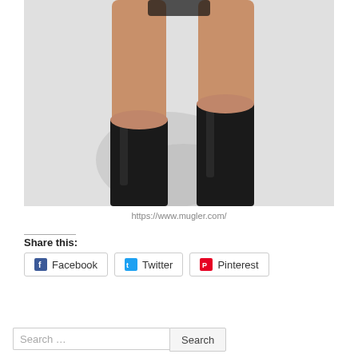[Figure (photo): Fashion photo showing a model's legs wearing tall black knee-high boots against a light grey background with shadow visible]
https://www.mugler.com/
Share this:
Facebook   Twitter   Pinterest